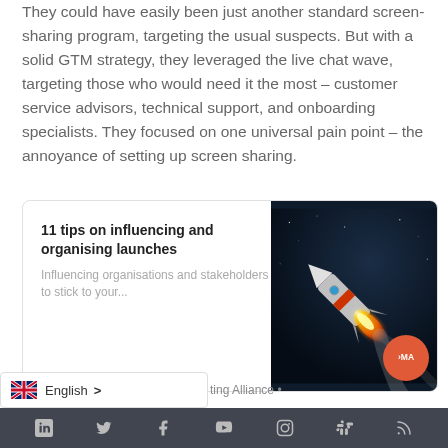They could have easily been just another standard screen-sharing program, targeting the usual suspects. But with a solid GTM strategy, they leveraged the live chat wave, targeting those who would need it the most – customer service advisors, technical support, and onboarding specialists. They focused on one universal pain point – the annoyance of setting up screen sharing.
[Figure (other): Article card with title '11 tips on influencing and organising launches', subtitle 'Influencing organisations and stakeholders to stick to your...', and a photo of a rocket launching against a dark blue sky background. A PMA (Product Marketing Alliance) orange badge is visible in the bottom right.]
English > ...ting Alliance •
LinkedIn Twitter Facebook YouTube Instagram Slack RSS